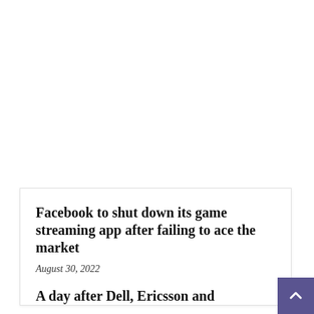Facebook to shut down its game streaming app after failing to ace the market
August 30, 2022
A day after Dell, Ericsson and